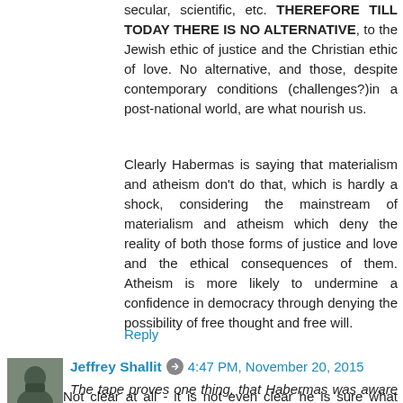secular, scientific, etc. THEREFORE TILL TODAY THERE IS NO ALTERNATIVE, to the Jewish ethic of justice and the Christian ethic of love. No alternative, and those, despite contemporary conditions (challenges?)in a post-national world, are what nourish us.
Clearly Habermas is saying that materialism and atheism don't do that, which is hardly a shock, considering the mainstream of materialism and atheism which deny the reality of both those forms of justice and love and the ethical consequences of them. Atheism is more likely to undermine a confidence in democracy through denying the possibility of free thought and free will.
Reply
Jeffrey Shallit 4:47 PM, November 20, 2015
The tape proves one thing, that Habermas was aware of the controversy due to having been asked the question.
Not clear at all - it is not even clear he is sure what particular passage is being referred to.